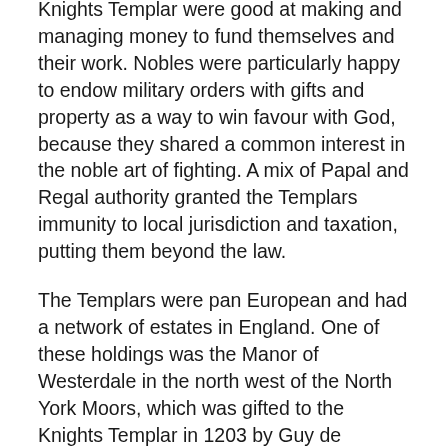Knights Templar were good at making and managing money to fund themselves and their work. Nobles were particularly happy to endow military orders with gifts and property as a way to win favour with God, because they shared a common interest in the noble art of fighting. A mix of Papal and Regal authority granted the Templars immunity to local jurisdiction and taxation, putting them beyond the law.
The Templars were pan European and had a network of estates in England. One of these holdings was the Manor of Westerdale in the north west of the North York Moors, which was gifted to the Knights Templar in 1203 by Guy de Bonaincurt. There are also records of additional gifts from other landowners in the wider area, at Kildale, Ingleby Arncliffe, Pinchinthope, and Broughton. At Westerdale a preceptory was founded – a preceptory is a military